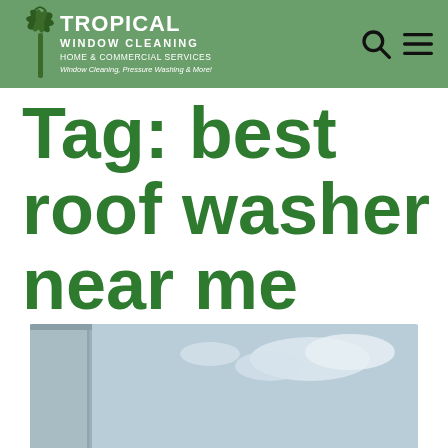[Figure (logo): Tropical Window Cleaning logo on green header bar with palm tree graphic and text 'TROPICAL WINDOW CLEANING HOME & COMMERCIAL SERVICES Window Cleaning, Pressure Washing & More!']
Tag: best roof washer near me
[Figure (photo): Partial photo of a roof or building exterior with sky in background, visible at bottom of page]